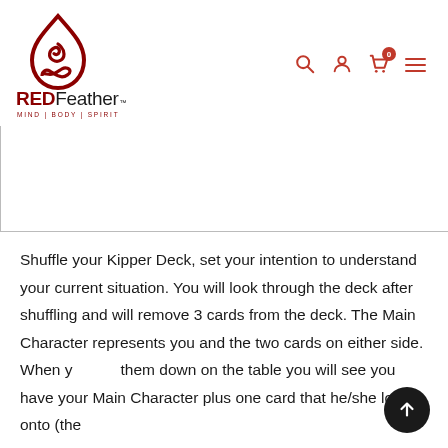[Figure (logo): Red Feather Mind Body Spirit logo with red teardrop/spiral and infinity symbol icon, bold RED in dark red and Feather in black with trademark symbol, tagline MIND | BODY | SPIRIT in red]
[Figure (other): Navigation icons: search magnifying glass, user/person icon, shopping cart with badge showing 0, hamburger menu — all in red/orange-red]
[Figure (other): White rectangular area representing an image or slide content area, with left and bottom border lines visible]
Shuffle your Kipper Deck, set your intention to understand your current situation. You will look through the deck after shuffling and will remove 3 cards from the deck. The Main Character represents you and the two cards on either side. When y them down on the table you will see you have your Main Character plus one card that he/she looks onto (the